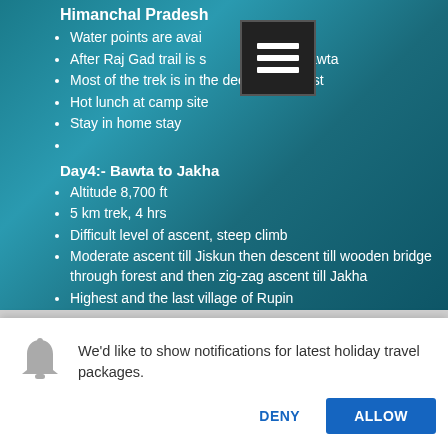Himanchal Pradesh
Water points are available till Raj Gad
After Raj Gad trail is steep ascent till Bawta
Most of the trek is in the deep dark forest
Hot lunch at camp site
Stay in home stay
Day4:- Bawta to Jakha
Altitude 8,700 ft
5 km trek, 4 hrs
Difficult level of ascent, steep climb
Moderate ascent till Jiskun then descent till wooden bridge through forest and then zig-zag ascent till Jakha
Highest and the last village of Rupin
[Figure (screenshot): Browser notification popup asking to show notifications for latest holiday travel packages, with DENY and ALLOW buttons]
We'd like to show notifications for latest holiday travel packages.